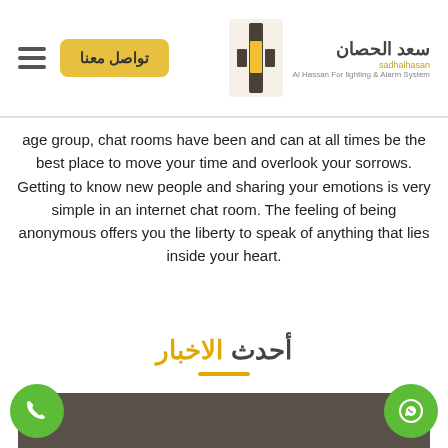سعد الحصان - Al Hassan For lighting & Alarm System - تواصل معنا
age group, chat rooms have been and can at all times be the best place to move your time and overlook your sorrows. Getting to know new people and sharing your emotions is very simple in an internet chat room. The feeling of being anonymous offers you the liberty to speak of anything that lies inside your heart.
أحدث الاخبار
[Figure (photo): Dark brownish-gray image area at the bottom of the page with green phone and WhatsApp floating action buttons on lower left and right corners]